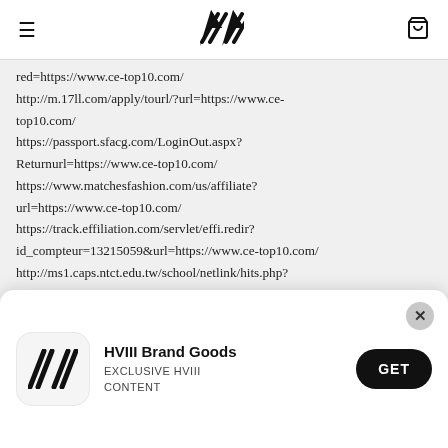HVIII brand site navigation header with hamburger menu, logo, and cart icon
red=https://www.ce-top10.com/
http://m.17ll.com/apply/tourl/?url=https://www.ce-top10.com/
https://passport.sfacg.com/LoginOut.aspx?Returnurl=https://www.ce-top10.com/
https://www.matchesfashion.com/us/affiliate?url=https://www.ce-top10.com/
https://track.effiliation.com/servlet/effi.redir?id_compteur=13215059&url=https://www.ce-top10.com/
http://ms1.caps.ntct.edu.tw/school/netlink/hits.php?id=107&url=https://www.ce-top10.com/
https://meguro.keizai.biz/banner.php?
[Figure (screenshot): App install popup banner for HVIII Brand Goods with logo, brand name, exclusive content text, and GET button]
8802-